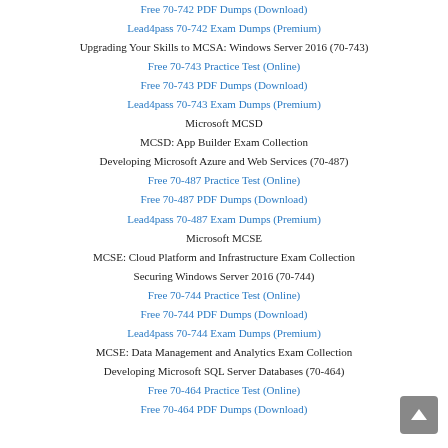Free 70-742 PDF Dumps (Download)
Lead4pass 70-742 Exam Dumps (Premium)
Upgrading Your Skills to MCSA: Windows Server 2016 (70-743)
Free 70-743 Practice Test (Online)
Free 70-743 PDF Dumps (Download)
Lead4pass 70-743 Exam Dumps (Premium)
Microsoft MCSD
MCSD: App Builder Exam Collection
Developing Microsoft Azure and Web Services (70-487)
Free 70-487 Practice Test (Online)
Free 70-487 PDF Dumps (Download)
Lead4pass 70-487 Exam Dumps (Premium)
Microsoft MCSE
MCSE: Cloud Platform and Infrastructure Exam Collection
Securing Windows Server 2016 (70-744)
Free 70-744 Practice Test (Online)
Free 70-744 PDF Dumps (Download)
Lead4pass 70-744 Exam Dumps (Premium)
MCSE: Data Management and Analytics Exam Collection
Developing Microsoft SQL Server Databases (70-464)
Free 70-464 Practice Test (Online)
Free 70-464 PDF Dumps (Download)